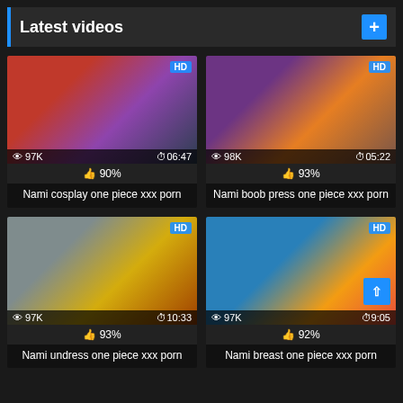Latest videos
[Figure (screenshot): Anime thumbnail 1 - HD badge, 97K views, 06:47 duration]
90%
Nami cosplay one piece xxx porn
[Figure (screenshot): Anime thumbnail 2 - HD badge, 98K views, 05:22 duration]
93%
Nami boob press one piece xxx porn
[Figure (screenshot): Anime thumbnail 3 - HD badge, 97K views, 10:33 duration]
93%
Nami undress one piece xxx porn
[Figure (screenshot): Anime thumbnail 4 - HD badge, 97K views, 9:05 duration]
92%
Nami breast one piece xxx porn